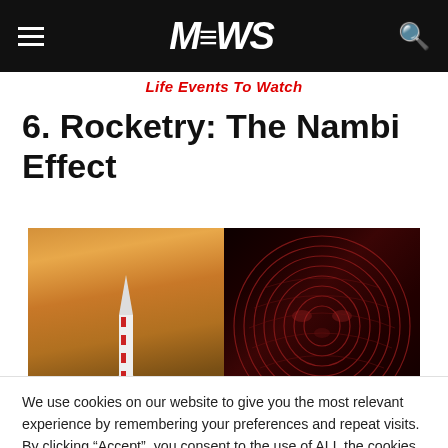MEWS
Life Events To Watch
6. Rocketry: The Nambi Effect
[Figure (photo): Split image: left side shows a red-and-white rocket launching through orange smoke clouds; right side shows a fingerprint-textured face in dark red tones]
We use cookies on our website to give you the most relevant experience by remembering your preferences and repeat visits. By clicking “Accept”, you consent to the use of ALL the cookies.
Cookie settings   ACCEPT